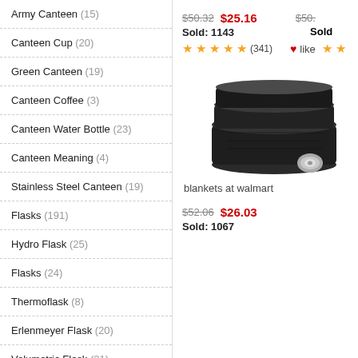Army Canteen (15)
Canteen Cup (20)
Green Canteen (19)
Canteen Coffee (3)
Canteen Water Bottle (23)
Canteen Meaning (4)
Stainless Steel Canteen (19)
Flasks (191)
Hydro Flask (25)
Flasks (24)
Thermoflask (8)
Erlenmeyer Flask (20)
Volumetric Flask (21)
Flask (27)
Plastic Flask (18)
$50.32  $25.16
Sold: 1143
★★★★★(341)  ❤like ★★
[Figure (photo): Stack of dark black folded blankets with a small silver button/clasp visible at the bottom right]
blankets at walmart
$52.06  $26.03
Sold: 1067